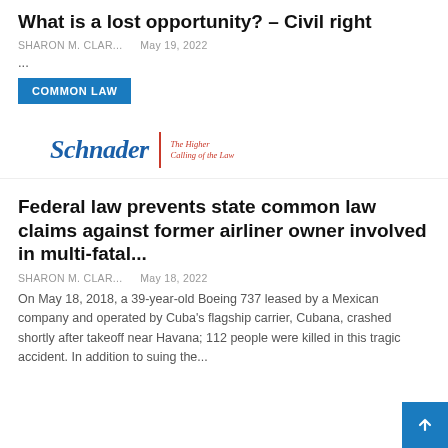What is a lost opportunity? – Civil right
SHARON M. CLAR...   May 19, 2022
...
COMMON LAW
[Figure (logo): Schnader law firm logo with tagline 'The Higher Calling of the Law']
Federal law prevents state common law claims against former airliner owner involved in multi-fatal...
SHARON M. CLAR...   May 18, 2022
On May 18, 2018, a 39-year-old Boeing 737 leased by a Mexican company and operated by Cuba's flagship carrier, Cubana, crashed shortly after takeoff near Havana; 112 people were killed in this tragic accident. In addition to suing the...